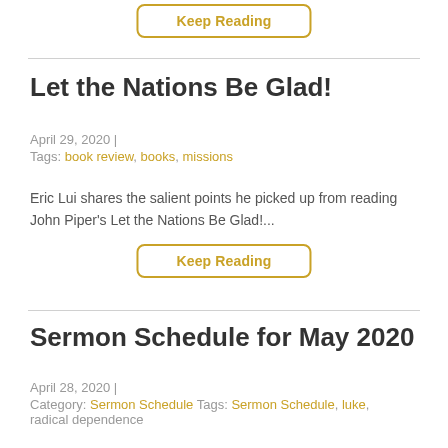Keep Reading
Let the Nations Be Glad!
April 29, 2020  |
Tags: book review, books, missions
Eric Lui shares the salient points he picked up from reading John Piper's Let the Nations Be Glad!...
Keep Reading
Sermon Schedule for May 2020
April 28, 2020  |
Category: Sermon Schedule Tags: Sermon Schedule, luke, radical dependence